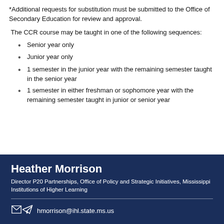*Additional requests for substitution must be submitted to the Office of Secondary Education for review and approval.
The CCR course may be taught in one of the following sequences:
Senior year only
Junior year only
1 semester in the junior year with the remaining semester taught in the senior year
1 semester in either freshman or sophomore year with the remaining semester taught in junior or senior year
Heather Morrison
Director P20 Partnerships, Office of Policy and Strategic Initiatives, Mississippi Institutions of Higher Learning
hmorrison@ihl.state.ms.us